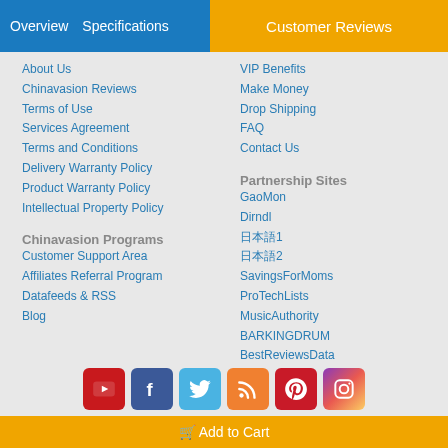Overview  Specifications  Customer Reviews
About Us
Chinavasion Reviews
Terms of Use
Services Agreement
Terms and Conditions
Delivery Warranty Policy
Product Warranty Policy
Intellectual Property Policy
VIP Benefits
Make Money
Drop Shipping
FAQ
Contact Us
Chinavasion Programs
Partnership Sites
Customer Support Area
Affiliates Referral Program
Datafeeds & RSS
Blog
GaoMon
Dirndl
日本語1
日本語2
SavingsForMoms
ProTechLists
MusicAuthority
BARKINGDRUM
BestReviewsData
Realistic Sex Dolls
[Figure (infographic): Social media icons: YouTube, Facebook, Twitter, RSS, Pinterest, Instagram]
Add to Cart